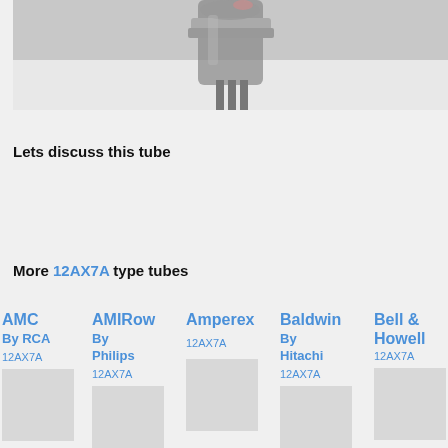[Figure (photo): Close-up photo of a vacuum tube (valve) showing metal pins and glass envelope from above, on a light background]
Lets discuss this tube
More 12AX7A type tubes
AMC By RCA 12AX7A
AMIRow By Philips 12AX7A
Amperex 12AX7A
Baldwin By Hitachi 12AX7A
Bell & Howell 12AX7A